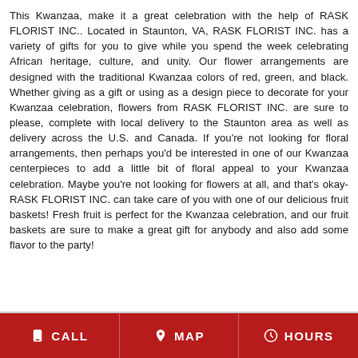This Kwanzaa, make it a great celebration with the help of RASK FLORIST INC.. Located in Staunton, VA, RASK FLORIST INC. has a variety of gifts for you to give while you spend the week celebrating African heritage, culture, and unity. Our flower arrangements are designed with the traditional Kwanzaa colors of red, green, and black. Whether giving as a gift or using as a design piece to decorate for your Kwanzaa celebration, flowers from RASK FLORIST INC. are sure to please, complete with local delivery to the Staunton area as well as delivery across the U.S. and Canada. If you're not looking for floral arrangements, then perhaps you'd be interested in one of our Kwanzaa centerpieces to add a little bit of floral appeal to your Kwanzaa celebration. Maybe you're not looking for flowers at all, and that's okay- RASK FLORIST INC. can take care of you with one of our delicious fruit baskets! Fresh fruit is perfect for the Kwanzaa celebration, and our fruit baskets are sure to make a great gift for anybody and also add some flavor to the party!
CALL   MAP   HOURS